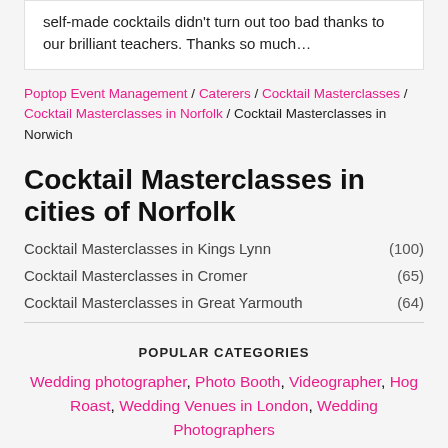Self-made cocktails didn't turn out too bad thanks to our brilliant teachers. Thanks so much…
Poptop Event Management / Caterers / Cocktail Masterclasses / Cocktail Masterclasses in Norfolk / Cocktail Masterclasses in Norwich
Cocktail Masterclasses in cities of Norfolk
Cocktail Masterclasses in Kings Lynn (100)
Cocktail Masterclasses in Cromer (65)
Cocktail Masterclasses in Great Yarmouth (64)
POPULAR CATEGORIES
Wedding photographer, Photo Booth, Videographer, Hog Roast, Wedding Venues in London, Wedding Photographers